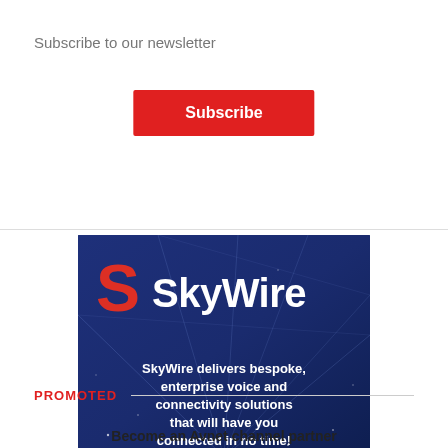Subscribe to our newsletter
Subscribe
[Figure (logo): SkyWire advertisement banner with dark blue geometric background, red S logo, white SkyWire brand name, and tagline: SkyWire delivers bespoke, enterprise voice and connectivity solutions that will have you connected in no time!]
PROMOTED
Become an Avnet channel partner